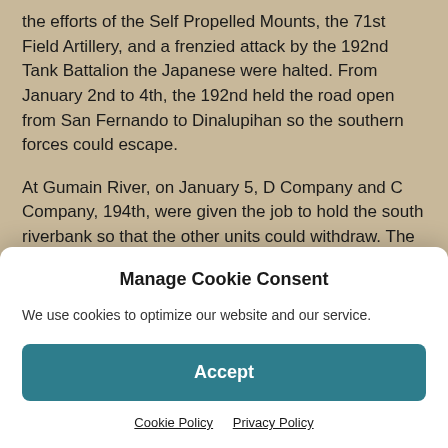the efforts of the Self Propelled Mounts, the 71st Field Artillery, and a frenzied attack by the 192nd Tank Battalion the Japanese were halted. From January 2nd to 4th, the 192nd held the road open from San Fernando to Dinalupihan so the southern forces could escape.
At Gumain River, on January 5, D Company and C Company, 194th, were given the job to hold the south riverbank so that the other units could withdraw. The tank companies formed a defensive line along the bank of the river. At 2:30 A.M., the night of January 5/6, the Japanese
Manage Cookie Consent
We use cookies to optimize our website and our service.
Accept
Cookie Policy   Privacy Policy